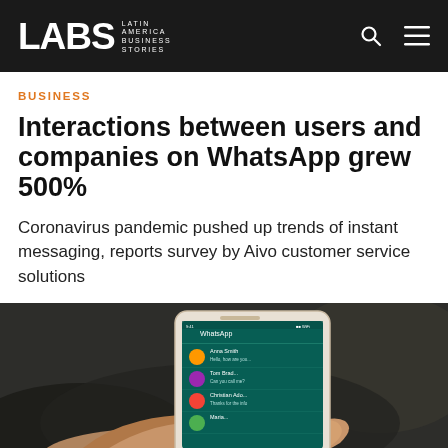LABS Latin America Business Stories
BUSINESS
Interactions between users and companies on WhatsApp grew 500%
Coronavirus pandemic pushed up trends of instant messaging, reports survey by Aivo customer service solutions
[Figure (photo): A person holding a smartphone displaying the WhatsApp interface, with a blurred dark background. The phone screen shows chat contacts list.]